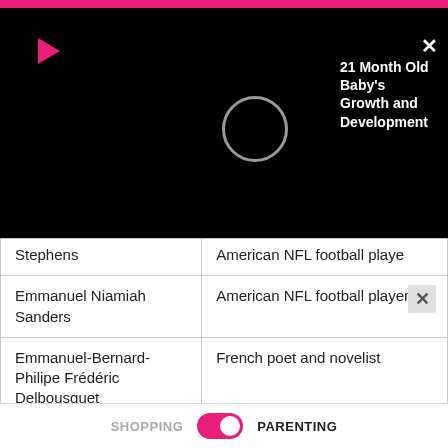[Figure (screenshot): Black video ad overlay showing a loading circle, red play button icon, close X button, and video title '21 Month Old Baby's Growth and Development' on right side]
| Stephens | American NFL football player |
| Emmanuel Niamiah Sanders | American NFL football player |
| Emmanuel-Bernard-Philipe Frédéric Delbousquet | French poet and novelist |
| Emmanuel Lubezki | Mexican cinematographer |
| Emmanuel Joseph Sieyès | French priest and revolutionary |
| (Alexis) Emmanuel |  |
SHOPPING   PARENTING